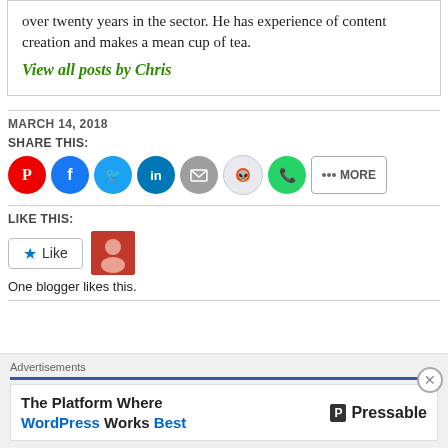over twenty years in the sector. He has experience of content creation and makes a mean cup of tea.
View all posts by Chris
MARCH 14, 2018
SHARE THIS:
[Figure (infographic): Row of social share buttons: Pinterest (red), Facebook (blue), Twitter (light blue), LinkedIn (dark blue), Email (grey), Reddit (light grey), WhatsApp (green), and a MORE button]
LIKE THIS:
[Figure (infographic): Like button with star icon and a blogger avatar thumbnail]
One blogger likes this.
Advertisements
The Platform Where WordPress Works Best